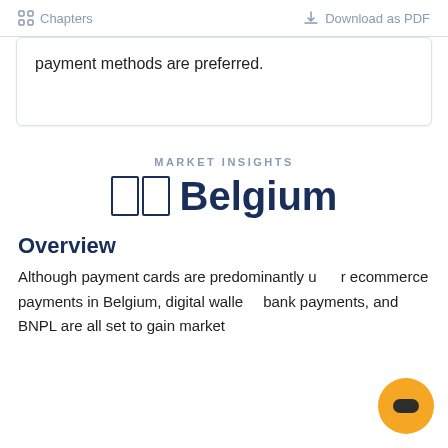Chapters   Download as PDF
payment methods are preferred.
MARKET INSIGHTS
🇧🇪 Belgium
Overview
Although payment cards are predominantly used for ecommerce payments in Belgium, digital wallets, bank payments, and BNPL are all set to gain market